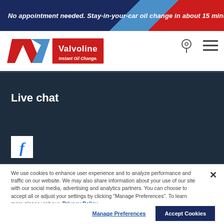No appointment needed. Stay-in-your-car oil change in about 15 minutes.
[Figure (logo): Valvoline Instant Oil Change logo with V chevron mark in red and blue]
Live chat
[Figure (logo): Facebook social media icon (white f on white background)]
We use cookies to enhance user experience and to analyze performance and traffic on our website. We may also share information about your use of our site with our social media, advertising and analytics partners. You can choose to accept all or adjust your settings by clicking "Manage Preferences". To learn more please visit our Privacy Policy
Manage Preferences
Accept Cookies